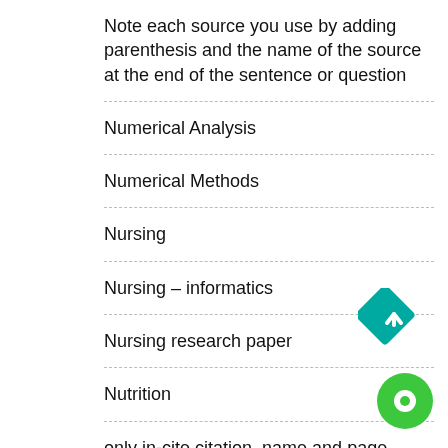Note each source you use by adding parenthesis and the name of the source at the end of the sentence or question
Numerical Analysis
Numerical Methods
Nursing
Nursing – informatics
Nursing research paper
Nutrition
only in-cite citation, name and page number only.
operating systems
[Figure (illustration): Teal diamond-shaped scroll-to-top button with upward chevron, and a green circular chat button below it, positioned at the bottom-right corner.]